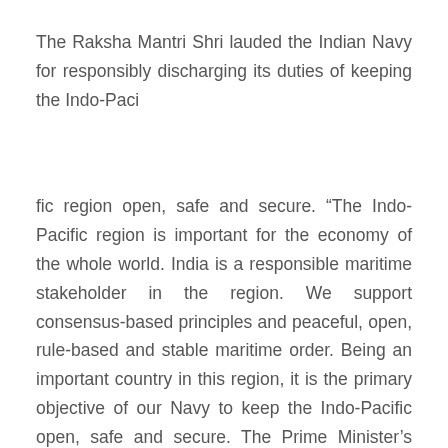The Raksha Mantri Shri lauded the Indian Navy for responsibly discharging its duties of keeping the Indo-Paci
fic region open, safe and secure. “The Indo-Pacific region is important for the economy of the whole world. India is a responsible maritime stakeholder in the region. We support consensus-based principles and peaceful, open, rule-based and stable maritime order. Being an important country in this region, it is the primary objective of our Navy to keep the Indo-Pacific open, safe and secure. The Prime Minister’s vision of Security and Growth for All in the Region (SAGAR) is based on the spirit of friendship,